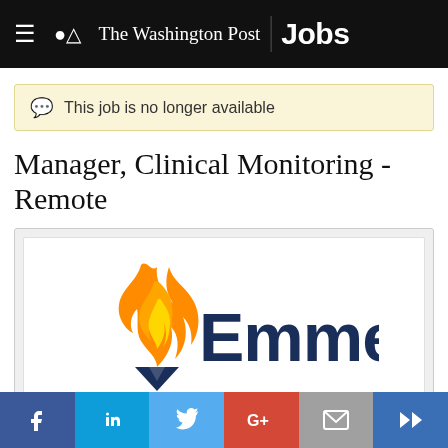The Washington Post Jobs
This job is no longer available
Manager, Clinical Monitoring - Remote
[Figure (logo): Emmes company logo — flame/torch icon in orange and dark navy, with the word Emmes in large dark navy sans-serif text]
Social share buttons: Facebook, LinkedIn, Twitter, Google+, Email, Klout